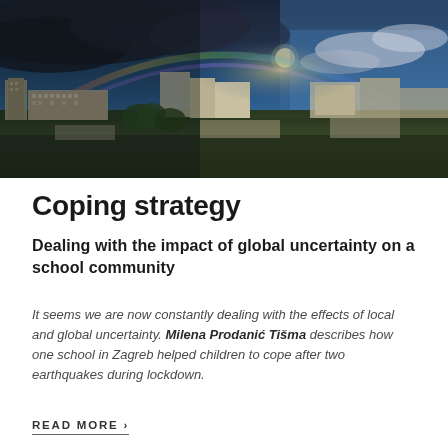[Figure (photo): Aerial panoramic view of a city (Zagreb) with residential buildings, trees, and a rainbow arching across a dramatic stormy sky with dark clouds and blue sky.]
Coping strategy
Dealing with the impact of global uncertainty on a school community
It seems we are now constantly dealing with the effects of local and global uncertainty. Milena Prodanić Tišma describes how one school in Zagreb helped children to cope after two earthquakes during lockdown.
READ MORE ›